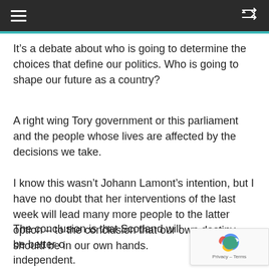≡  ⇌
It's a debate about who is going to determine the choices that define our politics. Who is going to shape our future as a country?
A right wing Tory government or this parliament and the people whose lives are affected by the decisions we take.
I know this wasn't Johann Lamont's intention, but I have no doubt that her interventions of the last week will lead many more people to the latter option – to the conclusion that our own destiny should be in our own hands.
The conclusion is that Scotland will be better o… independent.